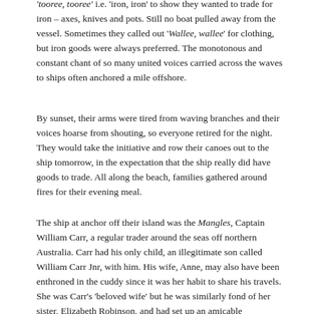'tooree, tooree' i.e. 'iron, iron' to show they wanted to trade for iron – axes, knives and pots. Still no boat pulled away from the vessel. Sometimes they called out 'Wallee, wallee' for clothing, but iron goods were always preferred. The monotonous and constant chant of so many united voices carried across the waves to ships often anchored a mile offshore.
By sunset, their arms were tired from waving branches and their voices hoarse from shouting, so everyone retired for the night. They would take the initiative and row their canoes out to the ship tomorrow, in the expectation that the ship really did have goods to trade. All along the beach, families gathered around fires for their evening meal.
The ship at anchor off their island was the Mangles, Captain William Carr, a regular trader around the seas off northern Australia. Carr had his only child, an illegitimate son called William Carr Jnr, with him. His wife, Anne, may also have been enthroned in the cuddy since it was her habit to share his travels. She was Carr's 'beloved wife' but he was similarly fond of her sister, Elizabeth Robinson, and had set up an amicable threesome in Limehouse, London.²